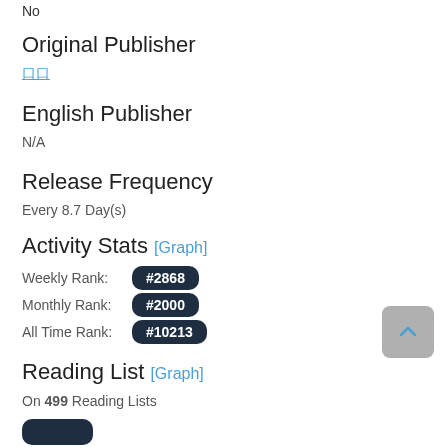No
Original Publisher
口口
English Publisher
N/A
Release Frequency
Every 8.7 Day(s)
Activity Stats [Graph]
Weekly Rank: #2868
Monthly Rank: #2000
All Time Rank: #10213
Reading List [Graph]
On 499 Reading Lists